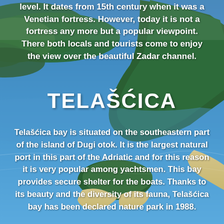[Figure (photo): Aerial photograph of Telašćica bay on the island of Dugi otok, Croatia, showing green forested islands, sandy spits, and blue Adriatic water]
level. It dates from 15th century when it was a Venetian fortress. However, today it is not a fortress any more but a popular viewpoint. There both locals and tourists come to enjoy the view over the beautiful Zadar channel.
TELAŠĆICA
Telašćica bay is situated on the southeastern part of the island of Dugi otok. It is the largest natural port in this part of the Adriatic and for this reason it is very popular among yachtsmen. This bay provides secure shelter for the boats. Thanks to its beauty and the diversity of its fauna, Telašćica bay has been declared nature park in 1988.